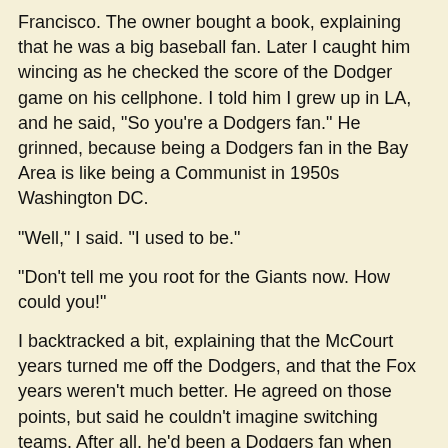Francisco. The owner bought a book, explaining that he was a big baseball fan. Later I caught him wincing as he checked the score of the Dodger game on his cellphone. I told him I grew up in LA, and he said, "So you're a Dodgers fan." He grinned, because being a Dodgers fan in the Bay Area is like being a Communist in 1950s Washington DC.
"Well," I said. "I used to be."
"Don't tell me you root for the Giants now. How could you!"
I backtracked a bit, explaining that the McCourt years turned me off the Dodgers, and that the Fox years weren't much better. He agreed on those points, but said he couldn't imagine switching teams. After all, he'd been a Dodgers fan when they were still in Brooklyn...
And that's when I said it: "Tell you the truth, I just love baseball."
BULLSHIT! BULLSHIT! BEEP BEEP BEEP! Sirens blaring, lights flashing and strobing.